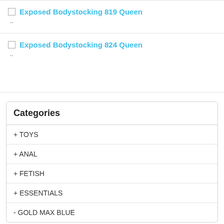Exposed Bodystocking 819 Queen
Exposed Bodystocking 824 Queen
Categories
+ TOYS
+ ANAL
+ FETISH
+ ESSENTIALS
- GOLD MAX BLUE